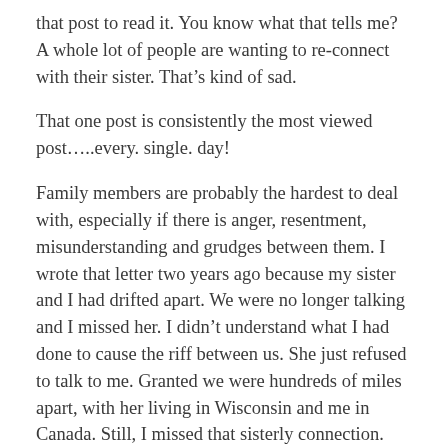that post to read it. You know what that tells me? A whole lot of people are wanting to reconnect with their sister. That's kind of sad.
That one post is consistently the most viewed post.....every. single. day!
Family members are probably the hardest to deal with, especially if there is anger, resentment, misunderstanding and grudges between them. I wrote that letter two years ago because my sister and I had drifted apart. We were no longer talking and I missed her. I didn't understand what I had done to cause the riff between us. She just refused to talk to me. Granted we were hundreds of miles apart, with her living in Wisconsin and me in Canada. Still, I missed that sisterly connection.